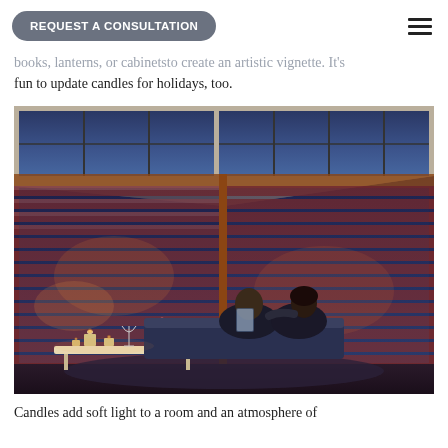REQUEST A CONSULTATION
books, lanterns, or cabinetsto create an artistic vignette. It's fun to update candles for holidays, too.
[Figure (photo): A couple sitting on a couch looking out at a city view through large windows covered with horizontal sheer blinds/shades in a warm-toned modern living room at dusk. Candles and glassware are visible on a coffee table in the foreground.]
Candles add soft light to a room and an atmosphere of